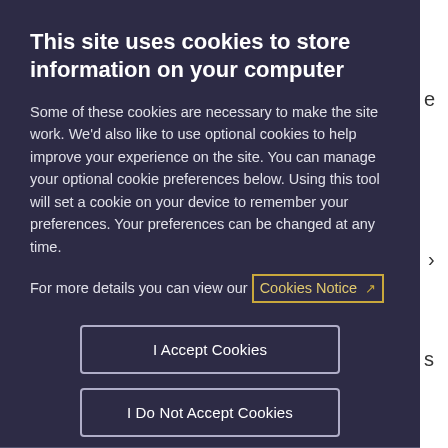This site uses cookies to store information on your computer
Some of these cookies are necessary to make the site work. We'd also like to use optional cookies to help improve your experience on the site. You can manage your optional cookie preferences below. Using this tool will set a cookie on your device to remember your preferences. Your preferences can be changed at any time.
For more details you can view our Cookies Notice
I Accept Cookies
I Do Not Accept Cookies